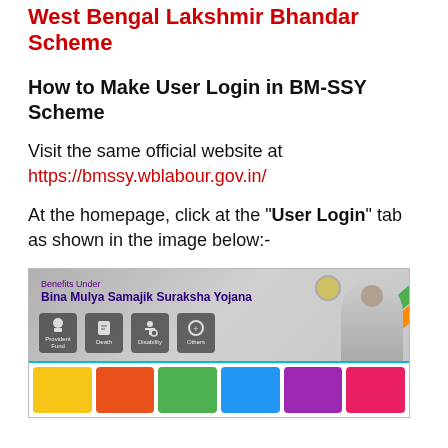West Bengal Lakshmir Bhandar Scheme
How to Make User Login in BM-SSY Scheme
Visit the same official website at https://bmssy.wblabour.gov.in/
At the homepage, click at the "User Login" tab as shown in the image below:-
[Figure (screenshot): Screenshot of the BM-SSY website homepage showing 'Benefits Under Bina Mulya Samajik Suraksha Yojana' with icons for Provident Fund, Death, Disability, and Others categories, plus a bottom navigation bar with colorful icons.]